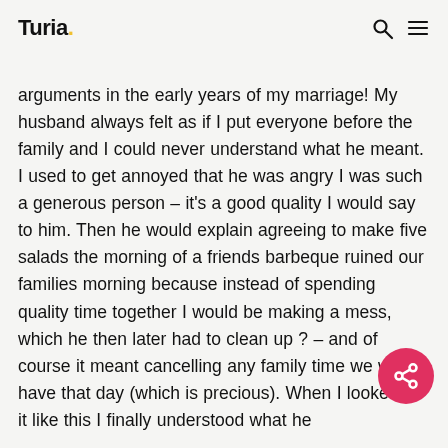Turia.
arguments in the early years of my marriage! My husband always felt as if I put everyone before the family and I could never understand what he meant. I used to get annoyed that he was angry I was such a generous person – it's a good quality I would say to him. Then he would explain agreeing to make five salads the morning of a friends barbeque ruined our families morning because instead of spending quality time together I would be making a mess, which he then later had to clean up ? – and of course it meant cancelling any family time we would have that day (which is precious). When I looked at it like this I finally understood what he